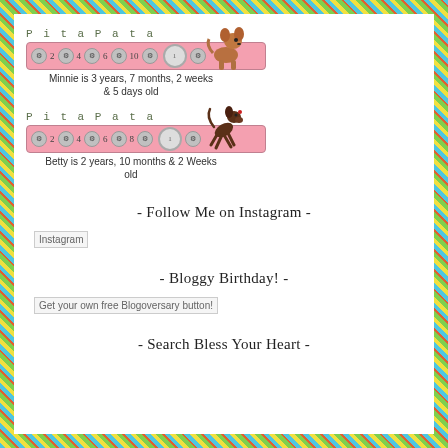[Figure (other): PitaPata pet age ticker for Minnie showing '2 4 6 8 10' counter bar with chihuahua graphic. Caption: Minnie is 3 years, 7 months, 2 weeks & 5 days old]
Minnie is 3 years, 7 months, 2 weeks & 5 days old
[Figure (other): PitaPata pet age ticker for Betty showing '2 4 6 8' counter bar with dog graphic. Caption: Betty is 2 years, 10 months & 2 Weeks old]
Betty is 2 years, 10 months & 2 Weeks old
- Follow Me on Instagram -
[Figure (other): Instagram image placeholder]
- Bloggy Birthday! -
[Figure (other): Get your own free Blogoversary button! image placeholder]
- Search Bless Your Heart -